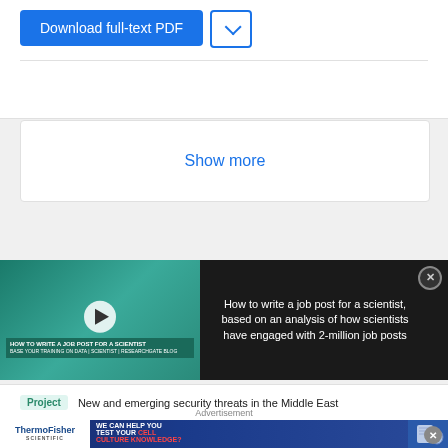[Figure (screenshot): Download full-text PDF button (blue) and a dropdown chevron button (blue outline)]
Show more
[Figure (screenshot): Video thumbnail showing a woman in an office with text 'HOW TO WRITE A JOB POST FOR A SCIENTIST' overlaid, with a play button. Beside it a dark panel reads: 'How to write a job post for a scientist, based on an analysis of how scientists have engaged with 2-million job posts'. A close (X) button is visible.]
Project
New and emerging security threats in the Middle East
[Figure (screenshot): Thermo Fisher Scientific advertisement banner: 'WE CAN HELP YOU TEST YOUR CELL CULTURE KNOWLEDGE?']